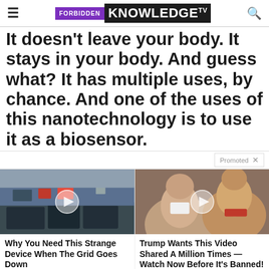FORBIDDEN KNOWLEDGE TV
It doesn't leave your body. It stays in your body. And guess what? It has multiple uses, by chance. And one of the uses of this nanotechnology is to use it as a biosensor.
Promoted ×
[Figure (photo): Thumbnail of street traffic scene with cars and pedestrians, play button overlay]
[Figure (photo): Thumbnail of Melania and Donald Trump, play button overlay]
Why You Need This Strange Device When The Grid Goes Down
Trump Wants This Video Shared A Million Times — Watch Now Before It's Banned!